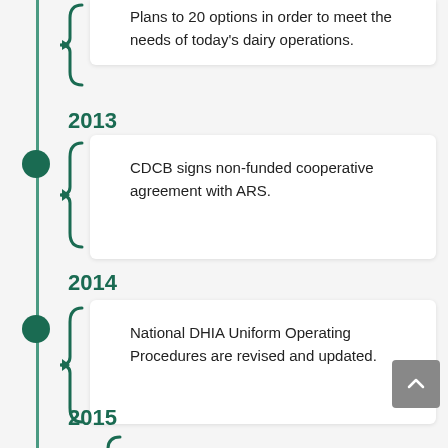Plans to 20 options in order to meet the needs of today's dairy operations.
2013
CDCB signs non-funded cooperative agreement with ARS.
2014
National DHIA Uniform Operating Procedures are revised and updated.
2015